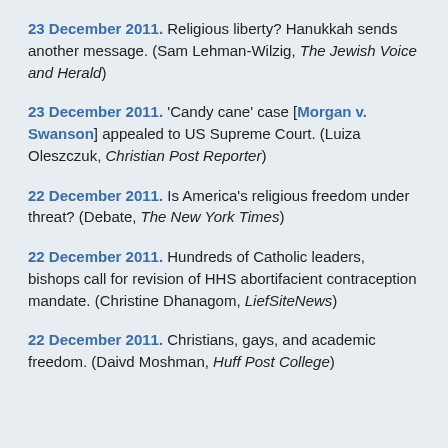23 December 2011. Religious liberty? Hanukkah sends another message. (Sam Lehman-Wilzig, The Jewish Voice and Herald)
23 December 2011. 'Candy cane' case [Morgan v. Swanson] appealed to US Supreme Court. (Luiza Oleszczuk, Christian Post Reporter)
22 December 2011. Is America's religious freedom under threat? (Debate, The New York Times)
22 December 2011. Hundreds of Catholic leaders, bishops call for revision of HHS abortifacient contraception mandate. (Christine Dhanagom, LiefSiteNews)
22 December 2011. Christians, gays, and academic freedom. (Daivd Moshman, Huff Post College)